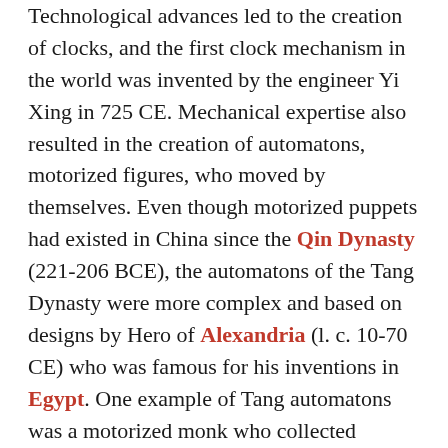Technological advances led to the creation of clocks, and the first clock mechanism in the world was invented by the engineer Yi Xing in 725 CE. Mechanical expertise also resulted in the creation of automatons, motorized figures, who moved by themselves. Even though motorized puppets had existed in China since the Qin Dynasty (221-206 BCE), the automatons of the Tang Dynasty were more complex and based on designs by Hero of Alexandria (l. c. 10-70 CE) who was famous for his inventions in Egypt. One example of Tang automatons was a motorized monk who collected donations, and another was an automatic wine-pourer shaped like a mountain which used a hydraulic pump.
The Tang Dynasty also invented gunpowder, waterproofing, fireproofing, gas stoves, and air...